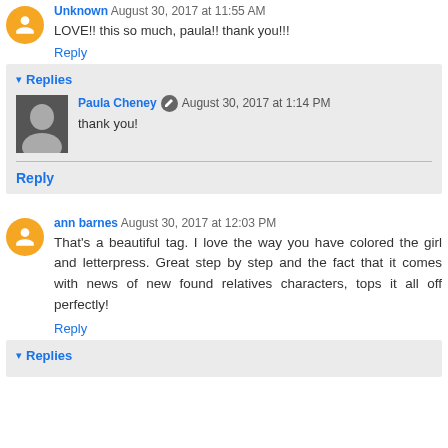Unknown August 30, 2017 at 11:55 AM
LOVE!! this so much, paula!! thank you!!!
Reply
Replies
Paula Cheney August 30, 2017 at 1:14 PM
thank you!
Reply
ann barnes August 30, 2017 at 12:03 PM
That's a beautiful tag. I love the way you have colored the girl and letterpress. Great step by step and the fact that it comes with news of new found relatives characters, tops it all off perfectly!
Reply
Replies